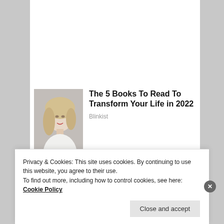[Figure (photo): Thumbnail photo of a blonde woman in white clothing against a grey background, for article about 5 Books To Read To Transform Your Life in 2022]
The 5 Books To Read To Transform Your Life in 2022
Blinkist
[Figure (photo): Partially visible thumbnail for second article 'Almost Nobody Has...' showing a blue rounded shape]
Almost Nobody Has...
Privacy & Cookies: This site uses cookies. By continuing to use this website, you agree to their use.
To find out more, including how to control cookies, see here: Cookie Policy
Close and accept